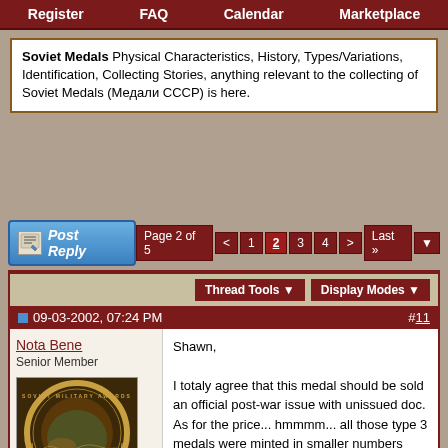Register | FAQ | Calendar | Marketplace
Soviet Medals Physical Characteristics, History, Types/Variations, Identification, Collecting Stories, anything relevant to the collecting of Soviet Medals (Медали СССР) is here.
[Figure (screenshot): Post Reply button with blue gradient styling and pen icon]
Page 2 of 5  <  1  2  3  4  >  Last »
Thread Tools  Display Modes
09-03-2002, 07:24 PM  #11
Nota Bene
Senior Member
[Figure (photo): Soviet Military Awards forum avatar/logo with circular medal design and Cyrillic text СОВЕТСКИЕ БОЕВЫЕ ОРДЕНА]
Shawn,

I totaly agree that this medal should be sold an official post-war issue with unissued doc. As for the price... hmmmm... all those type 3 medals were minted in smaller numbers than their WWII counterparts, and should, at least theoretically, cost more.